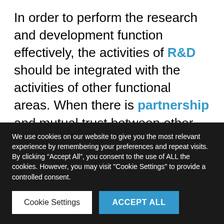In order to perform the research and development function effectively, the activities of R&D should be integrated with the activities of other functional areas. When there is partnership and mutual trust between other managers and manager of research and development. Then the whole organization is managed effectively. In such successfully operating organizations, all the managers are systematically involved in the decision. Regarding what, why, when and how much in the area of R&D.
We use cookies on our website to give you the most relevant experience by remembering your preferences and repeat visits. By clicking "Accept All", you consent to the use of ALL the cookies. However, you may visit "Cookie Settings" to provide a controlled consent.